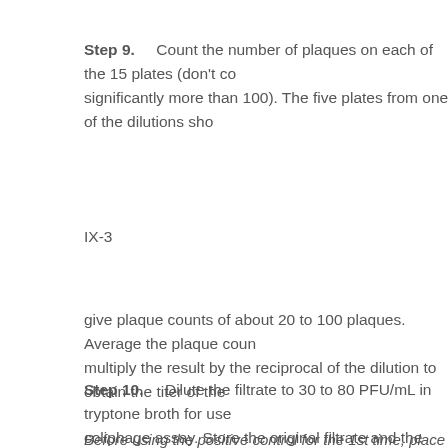Step 9.    Count the number of plaques on each of the 15 plates (don't count those with significantly more than 100). The five plates from one of the dilutions sho
IX-3
give plaque counts of about 20 to 100 plaques. Average the plaque coun multiply the result by the reciprocal of the dilution to obtain the titer of the
Step 10.    Dilute the filtrate to 30 to 80 PFU/mL in tryptone broth for use coliphage assay. Store the original filtrate and the diluted positive control
Before using the positive control for the 1st time, place 1 mL each into te